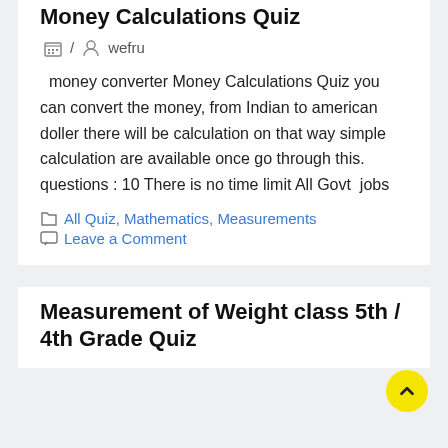Money Calculations Quiz
/ wefru
money converter Money Calculations Quiz you can convert the money, from Indian to american doller there will be calculation on that way simple calculation are available once go through this. questions : 10 There is no time limit All Govt  jobs
All Quiz, Mathematics, Measurements
Leave a Comment
Measurement of Weight class 5th / 4th Grade Quiz